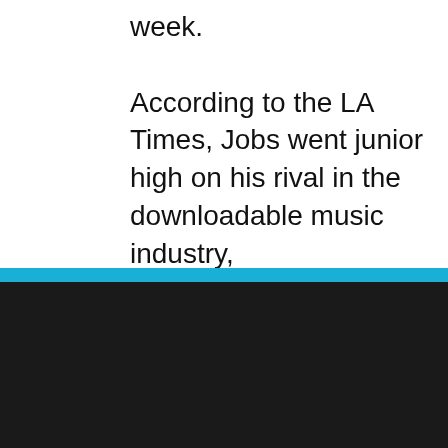week. According to the LA Times, Jobs went junior high on his rival in the downloadable music industry,
COOKIE NOTICE
We utilize cookie technology to collect data regarding the number of visits a person has made to our site. This data is stored in aggregate form and is in no way singled out in an individual file. This information allows us to know what pages/sites are of interest to our users and what pages/sites may be of less interest. See more